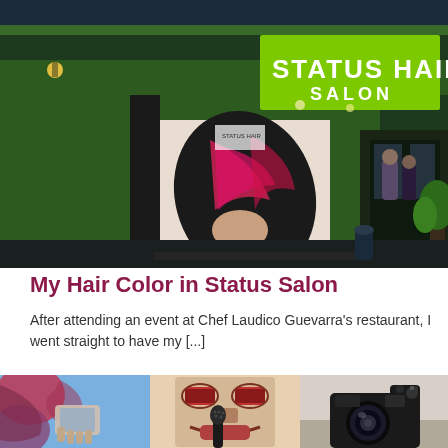[Figure (photo): Exterior night photo of Status Hair Salon storefront with bright green illuminated sign reading STATUS HAIR SALON, a large window display showing a woman with pink/red highlighted hair, and a glass entrance door with people visible inside]
My Hair Color in Status Salon
After attending an event at Chef Laudico Guevarra's restaurant, I went straight to have my [...]
[Figure (photo): Three side-by-side photos: left shows hands holding a phone/item with colorful background, center shows a colorful abstract totem-like art with a microphone in front, right shows a DSLR camera on a surface]